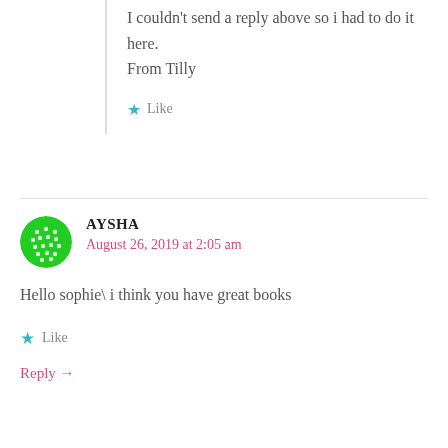I couldn't send a reply above so i had to do it here.
From Tilly
Like
AYSHA
August 26, 2019 at 2:05 am
Hello sophie\ i think you have great books
Like
Reply →